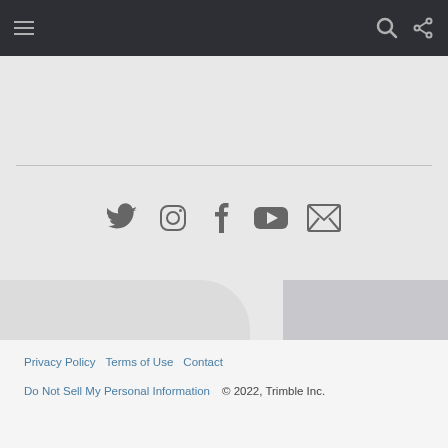Navigation bar with hamburger menu, search icon, and share icon
[Figure (illustration): Social media icons: Twitter, Instagram, Facebook, YouTube, Email]
Privacy Policy   Terms of Use   Contact   Do Not Sell My Personal Information   © 2022, Trimble Inc.